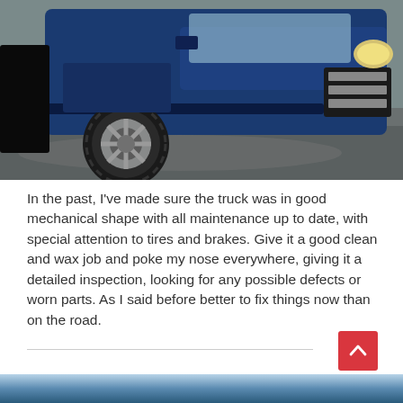[Figure (photo): Blue pickup truck (Dodge Ram) photographed from the front-right angle on wet pavement, showing the front wheel, headlight, and grille area.]
In the past, I've made sure the truck was in good mechanical shape with all maintenance up to date, with special attention to tires and brakes. Give it a good clean and wax job and poke my nose everywhere, giving it a detailed inspection, looking for any possible defects or worn parts. As I said before better to fix things now than on the road.